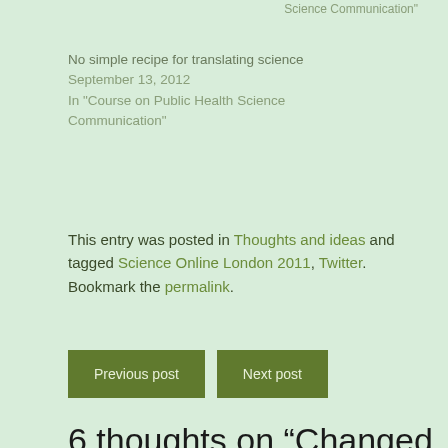Science Communication"
No simple recipe for translating science
September 13, 2012
In "Course on Public Health Science Communication"
This entry was posted in Thoughts and ideas and tagged Science Online London 2011, Twitter. Bookmark the permalink.
Previous post   Next post
6 thoughts on “Changed by Science Online London 2011?”